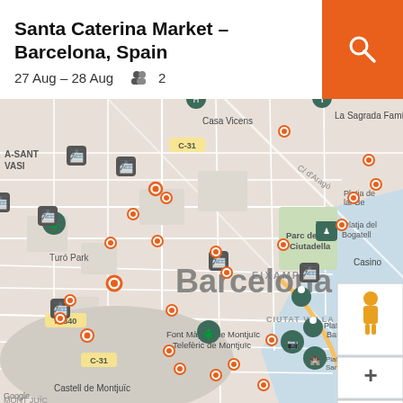Santa Caterina Market – Barcelona, Spain
27 Aug – 28 Aug    2
[Figure (map): Google Maps screenshot showing Barcelona, Spain with orange location markers scattered throughout the city. Visible landmarks include La Sagrada Família, Casa Vicens, Turó Park, Parc de la Ciutadella, Font Màgica de Montjuïc, Telefèric de Montjuïc, Castell de Montjuïc, EIXAMPLE district, CIUTAT VELLA district, Casino, and beaches (Platja del Bogatell, Platja de la Barceloneta, Platja de Sant Sebastià, Platja del Mar Bella). Road labels include C-31, N-340. Map includes street-view figure icon and zoom +/- controls.]